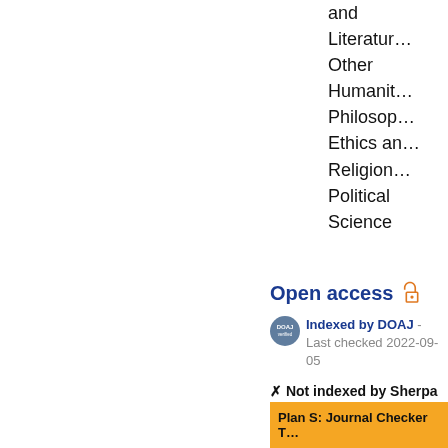and Literature Other Humanities Philosophy Ethics and Religion Political Science
Open access
Indexed by DOAJ - Last checked 2022-09-05
✗ Not indexed by Sherpa Romeo - Last checked 2022-09-05
Plan S: Journal Checker T...